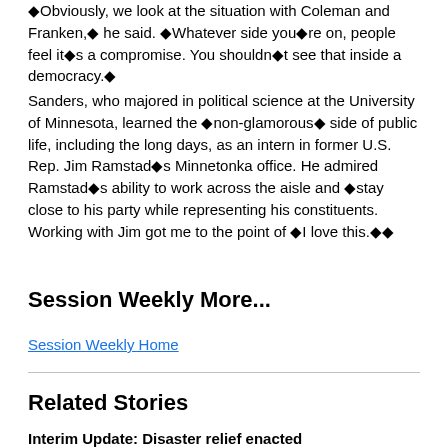◆Obviously, we look at the situation with Coleman and Franken,◆ he said. ◆Whatever side you◆re on, people feel it◆s a compromise. You shouldn◆t see that inside a democracy.◆
Sanders, who majored in political science at the University of Minnesota, learned the ◆non-glamorous◆ side of public life, including the long days, as an intern in former U.S. Rep. Jim Ramstad◆s Minnetonka office. He admired Ramstad◆s ability to work across the aisle and ◆stay close to his party while representing his constituents. Working with Jim got me to the point of ◆I love this.◆◆
Session Weekly More...
Session Weekly Home
Related Stories
Interim Update: Disaster relief enacted
Brief special session ends with $80 million flood, storm aid